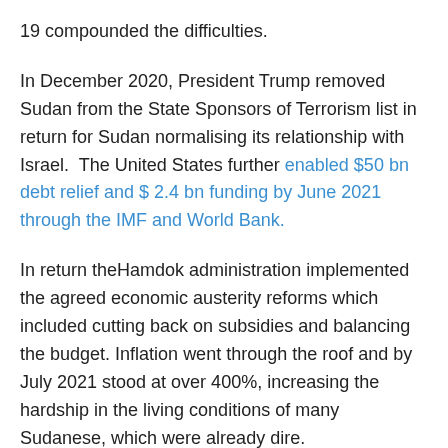19 compounded the difficulties.
In December 2020, President Trump removed Sudan from the State Sponsors of Terrorism list in return for Sudan normalising its relationship with Israel. The United States further enabled $50 bn debt relief and $ 2.4 bn funding by June 2021 through the IMF and World Bank.
In return theHamdok administration implemented the agreed economic austerity reforms which included cutting back on subsidies and balancing the budget. Inflation went through the roof and by July 2021 stood at over 400%, increasing the hardship in the living conditions of many Sudanese, which were already dire.
These problems gave the military an opportunity to stir public discontent. It tried its utmost to stall economic